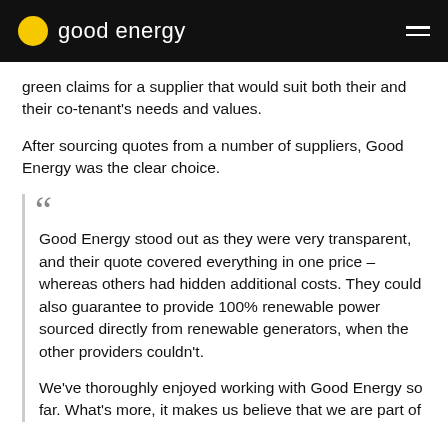good energy
green claims for a supplier that would suit both their and their co-tenant's needs and values.
After sourcing quotes from a number of suppliers, Good Energy was the clear choice.
"Good Energy stood out as they were very transparent, and their quote covered everything in one price – whereas others had hidden additional costs. They could also guarantee to provide 100% renewable power sourced directly from renewable generators, when the other providers couldn't.

We've thoroughly enjoyed working with Good Energy so far. What's more, it makes us believe that we are part of